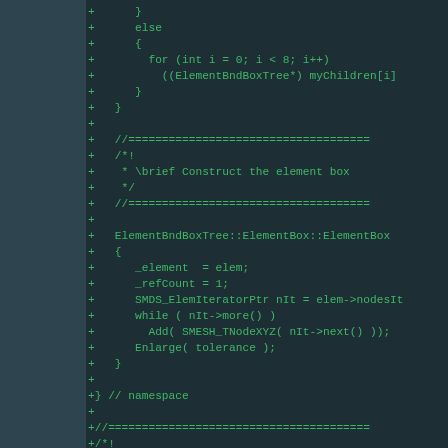[Figure (screenshot): Code diff view showing C++ source code additions (green '+' lines) for ElementBndBoxTree class implementation including constructor, loop over children, comment blocks, ElementBox constructor body, and namespace closing bracket, on a dark teal/green background.]